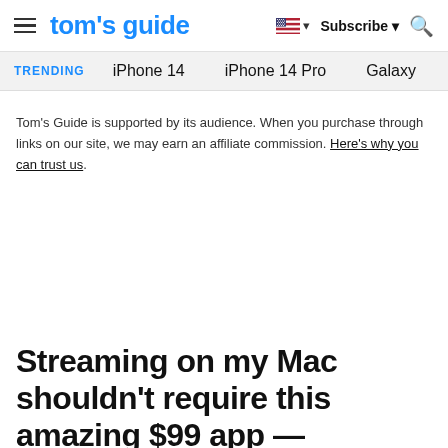tom's guide | Subscribe
TRENDING: iPhone 14 | iPhone 14 Pro | Galaxy
Tom's Guide is supported by its audience. When you purchase through links on our site, we may earn an affiliate commission. Here's why you can trust us.
Streaming on my Mac shouldn't require this amazing $99 app —